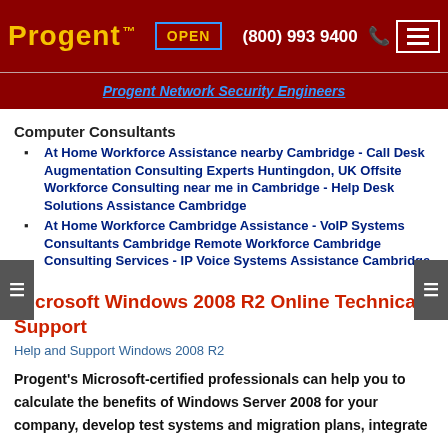Progent ™  OPEN  (800) 993 9400
Progent Network Security Engineers
Computer Consultants
At Home Workforce Assistance nearby Cambridge - Call Desk Augmentation Consulting Experts Huntingdon, UK Offsite Workforce Consulting near me in Cambridge - Help Desk Solutions Assistance Cambridge
At Home Workforce Cambridge Assistance - VoIP Systems Consultants Cambridge Remote Workforce Cambridge Consulting Services - IP Voice Systems Assistance Cambridge
Microsoft Windows 2008 R2 Online Technical Support
Help and Support Windows 2008 R2
Progent's Microsoft-certified professionals can help you to calculate the benefits of Windows Server 2008 for your company, develop test systems and migration plans, integrate